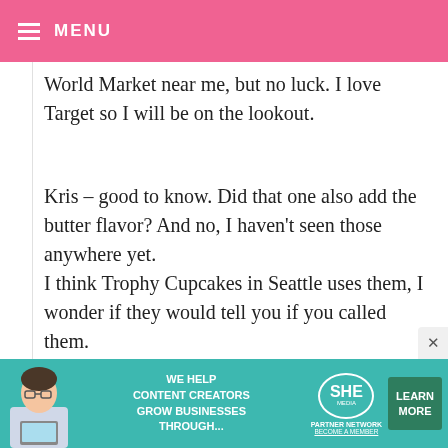MENU
World Market near me, but no luck. I love Target so I will be on the lookout.
Kris – good to know. Did that one also add the butter flavor? And no, I haven't seen those anywhere yet. I think Trophy Cupcakes in Seattle uses them, I wonder if they would tell you if you called them.
Anonymous – not really, but give this one a go. And I just uses the paper liners. No greasing the cups.
[Figure (infographic): SHE Partner Network advertisement banner with photo of woman with laptop, text 'WE HELP CONTENT CREATORS GROW BUSINESSES THROUGH...' and Learn More button]